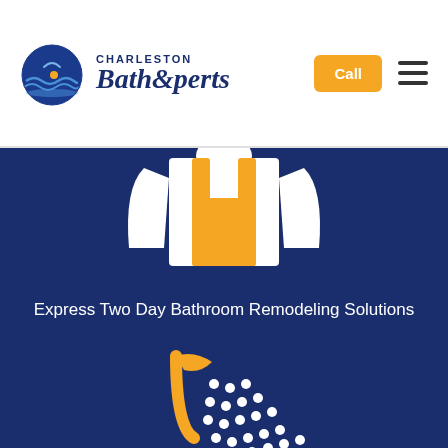[Figure (logo): Charleston Bath Experts logo with circular wave graphic and stylized italic text]
Call
[Figure (illustration): Worker in yellow apron icon on dark blue background]
Express Two Day Bathroom Remodeling Solutions
[Figure (illustration): Shower head with water droplets spraying into a bathtub icon on dark blue background]